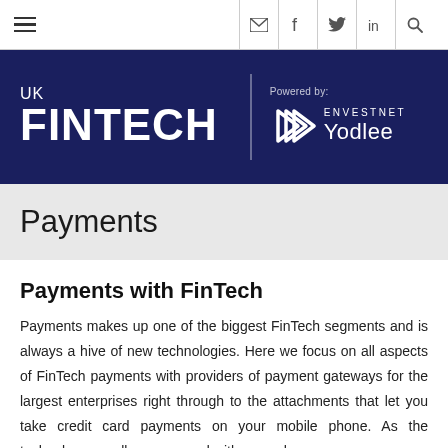UK FINTECH | Powered by: ENVESTNET Yodlee
Payments
Payments with FinTech
Payments makes up one of the biggest FinTech segments and is always a hive of new technologies. Here we focus on all aspects of FinTech payments with providers of payment gateways for the largest enterprises right through to the attachments that let you take credit card payments on your mobile phone.  As the technology we all carry around with us each